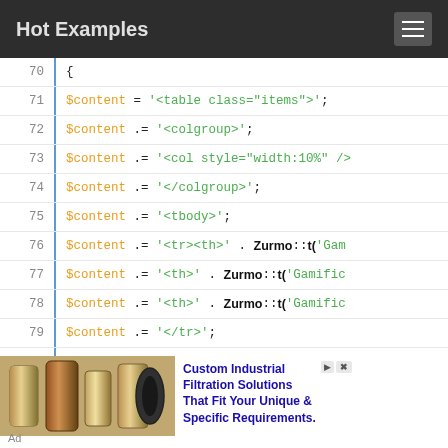Hot Examples
[Figure (screenshot): Code viewer showing PHP lines 70-83 with syntax highlighting. Orange variables ($content), green string values, blue/dark keywords (foreach, assert), Zurmo::t() calls in black sans-serif.]
[Figure (photo): Advertisement image showing industrial filtration cylinders/canisters with text: Custom Industrial Filtration Solutions That Fit Your Unique & Specific Requirements.]